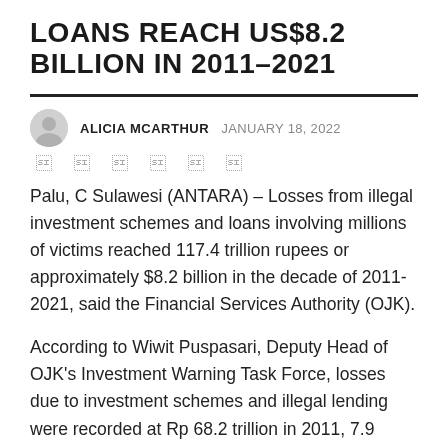LOANS REACH US$8.2 BILLION IN 2011–2021
ALICIA MCARTHUR  JANUARY 18, 2022
Palu, C Sulawesi (ANTARA) – Losses from illegal investment schemes and loans involving millions of victims reached 117.4 trillion rupees or approximately $8.2 billion in the decade of 2011- 2021, said the Financial Services Authority (OJK).
According to Wiwit Puspasari, Deputy Head of OJK's Investment Warning Task Force, losses due to investment schemes and illegal lending were recorded at Rp 68.2 trillion in 2011, 7.9 trillion